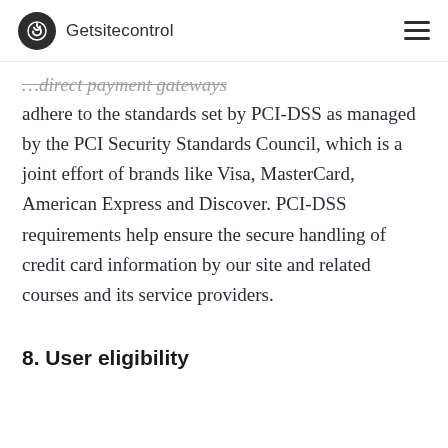Getsitecontrol
adhere to the standards set by PCI-DSS as managed by the PCI Security Standards Council, which is a joint effort of brands like Visa, MasterCard, American Express and Discover. PCI-DSS requirements help ensure the secure handling of credit card information by our site and related courses and its service providers.
8. User eligibility